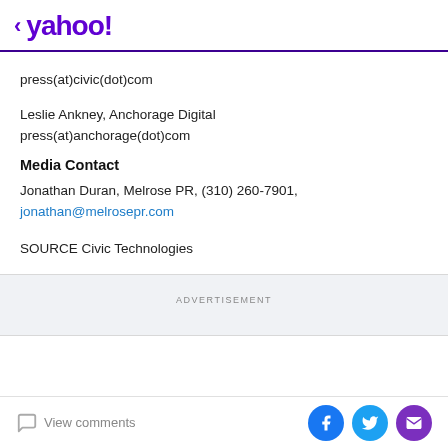< yahoo!
press(at)civic(dot)com
Leslie Ankney, Anchorage Digital
press(at)anchorage(dot)com
Media Contact
Jonathan Duran, Melrose PR, (310) 260-7901, jonathan@melrosepr.com
SOURCE Civic Technologies
ADVERTISEMENT
View comments